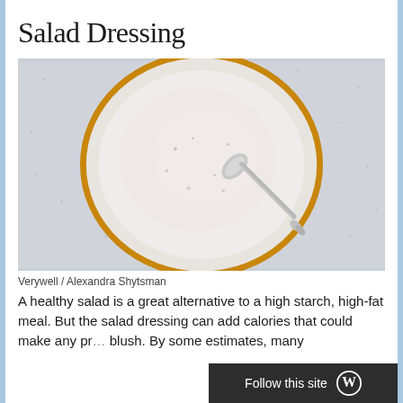Salad Dressing
[Figure (photo): Overhead view of a white bowl with yellow rim containing creamy white salad dressing with a silver spoon resting in it, on a light grey speckled background.]
Verywell / Alexandra Shytsman
A healthy salad is a great alternative to a high starch, high-fat meal. But the salad dressing can add calories that could make any pr... blush. By some estimates, many